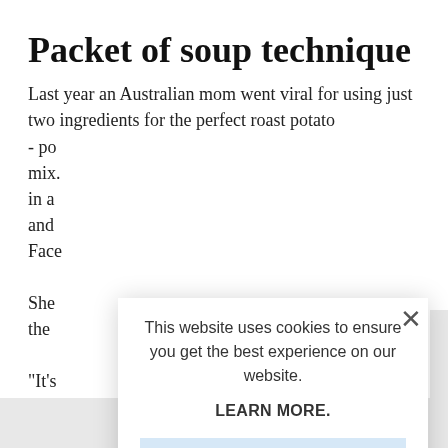Packet of soup technique
Last year an Australian mom went viral for using just two ingredients for the perfect roast potato - po mix. in a and Face She the "It's
[Figure (screenshot): Cookie consent modal dialog with close button (×), text 'This website uses cookies to ensure you get the best experience on our website.', a bold 'LEARN MORE.' link, and a light blue 'ACCEPT COOKIES' button.]